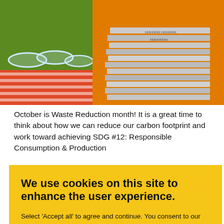[Figure (photo): Top portion of a webpage showing two photos side by side: left shows glass bowls on a red and white striped cloth on a green background, right shows a stack of newspapers on an orange background.]
October is Waste Reduction month! It is a great time to think about how we can reduce our carbon footprint and work toward achieving SDG #12: Responsible Consumption & Production
We use cookies on this site to enhance the user experience.
Select 'Accept all' to agree and continue. You consent to our cookies if you continue to use this website.
ACCEPT ALL